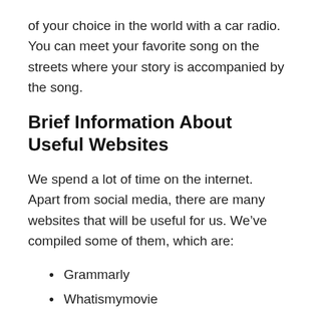of your choice in the world with a car radio. You can meet your favorite song on the streets where your story is accompanied by the song.
Brief Information About Useful Websites
We spend a lot of time on the internet. Apart from social media, there are many websites that will be useful for us. We’ve compiled some of them, which are:
Grammarly
Whatismymovie
Whichbook
Numbeo
Homestyler